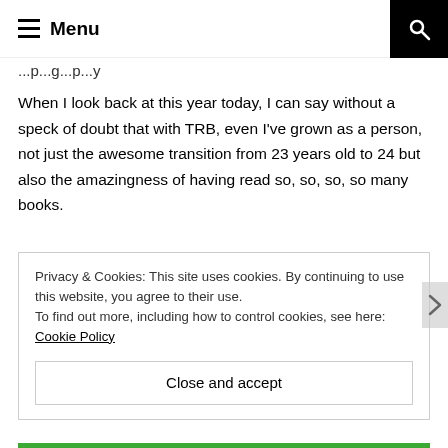Menu
...p...g...p...y
When I look back at this year today, I can say without a speck of doubt that with TRB, even I've grown as a person, not just the awesome transition from 23 years old to 24 but also the amazingness of having read so, so, so, so many books.
The second best thing to happen this year is that TRB and I have met so many awesome people and more than half have become my really good friends. I THANK each and everyone
Privacy & Cookies: This site uses cookies. By continuing to use this website, you agree to their use.
To find out more, including how to control cookies, see here: Cookie Policy
Close and accept